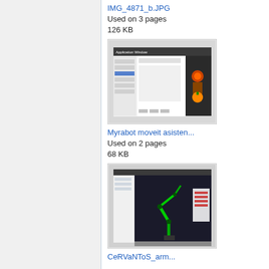IMG_4871_b.JPG
Used on 3 pages
126 KB
[Figure (screenshot): Screenshot of a software application window with a dark sidebar on the right showing cartoon/robot graphics, and a white main panel with a list and form area on the left.]
Myrabot moveit asisten...
Used on 2 pages
68 KB
[Figure (screenshot): Screenshot of a 3D robotics simulation application showing a green robotic arm on a dark background with a white panel on the right side.]
CeRVaNToS_arm...